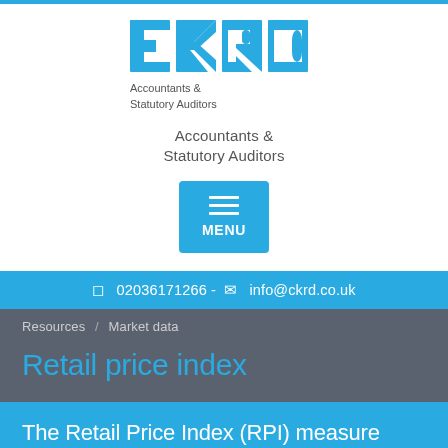[Figure (logo): CKRD logo in blue with text 'Accountants & Statutory Auditors']
[Figure (other): Blue MENU button with hamburger icon]
02036171266 -  info@ckrd.co.uk
Resources / Market data
Retail price index
The Retail Price Index (RPI) measure